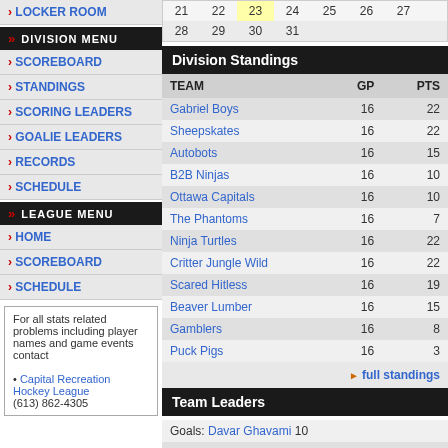|  |  |  |  |  |  |  |
| --- | --- | --- | --- | --- | --- | --- |
| 21 | 22 | 23 | 24 | 25 | 26 | 27 |
| 28 | 29 | 30 | 31 |  |  |  |
Division Standings
| TEAM | GP | PTS |
| --- | --- | --- |
| Gabriel Boys | 16 | 22 |
| Sheepskates | 16 | 22 |
| Autobots | 16 | 15 |
| B2B Ninjas | 16 | 10 |
| Ottawa Capitals | 16 | 10 |
| The Phantoms | 16 | 7 |
| Ninja Turtles | 16 | 22 |
| Critter Jungle Wild | 16 | 22 |
| Scared Hitless | 16 | 19 |
| Beaver Lumber | 16 | 15 |
| Gamblers | 16 | 8 |
| Puck Pigs | 16 | 3 |
full standings
Team Leaders
Goals: Davar Ghavami 10
Assists: Davar Ghavami 8
Points: Davar Ghavami 18
PIM: Davar Ghavami 24
DIVISION MENU
SCOREBOARD
STANDINGS
SCORING LEADERS
GOALIE LEADERS
RECORDS
SCHEDULE
LEAGUE MENU
HOME
SCOREBOARD
SCHEDULE
For all stats related problems including player names and game events contact

• Capital Recreation Hockey League
(613) 862-4305